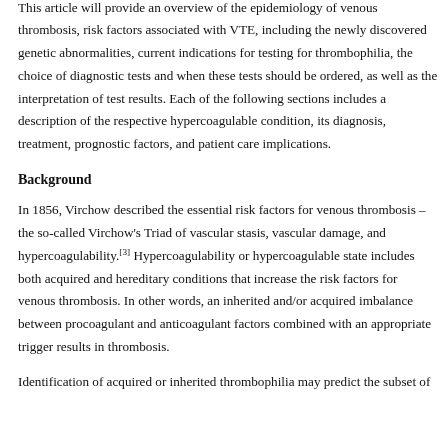appropriate test(s) and interpret the results correctly and carefully.
This article will provide an overview of the epidemiology of venous thrombosis, risk factors associated with VTE, including the newly discovered genetic abnormalities, current indications for testing for thrombophilia, the choice of diagnostic tests and when these tests should be ordered, as well as the interpretation of test results. Each of the following sections includes a description of the respective hypercoagulable condition, its diagnosis, treatment, prognostic factors, and patient care implications.
Background
In 1856, Virchow described the essential risk factors for venous thrombosis – the so-called Virchow's Triad of vascular stasis, vascular damage, and hypercoagulability.[3] Hypercoagulability or hypercoagulable state includes both acquired and hereditary conditions that increase the risk factors for venous thrombosis. In other words, an inherited and/or acquired imbalance between procoagulant and anticoagulant factors combined with an appropriate trigger results in thrombosis.
Identification of acquired or inherited thrombophilia may predict the subset of